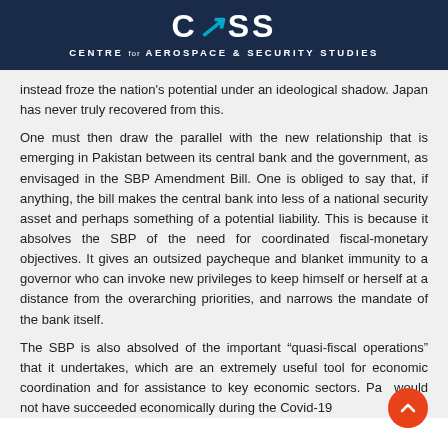CASS — CENTRE for AEROSPACE & SECURITY STUDIES
instead froze the nation's potential under an ideological shadow. Japan has never truly recovered from this.
One must then draw the parallel with the new relationship that is emerging in Pakistan between its central bank and the government, as envisaged in the SBP Amendment Bill. One is obliged to say that, if anything, the bill makes the central bank into less of a national security asset and perhaps something of a potential liability. This is because it absolves the SBP of the need for coordinated fiscal-monetary objectives. It gives an outsized paycheque and blanket immunity to a governor who can invoke new privileges to keep himself or herself at a distance from the overarching priorities, and narrows the mandate of the bank itself.
The SBP is also absolved of the important “quasi-fiscal operations” that it undertakes, which are an extremely useful tool for economic coordination and for assistance to key economic sectors. Pa... would not have succeeded economically during the Covid-19